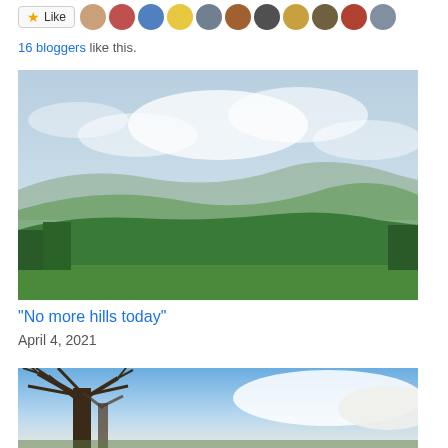[Figure (other): Like button with star icon and a strip of 11 blogger avatar thumbnails]
16 bloggers like this.
[Figure (photo): Landscape photo of rolling green hills and trees under a hazy blue sky with clouds]
“No more hills today”
April 4, 2021
[Figure (photo): Photo of a bare tree with branches against a blue sky with white clouds]